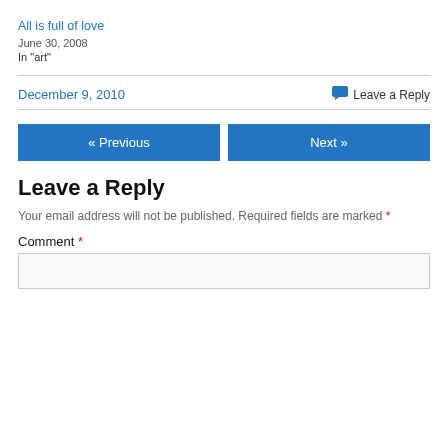All is full of love
June 30, 2008
In "art"
December 9, 2010
Leave a Reply
« Previous
Next »
Leave a Reply
Your email address will not be published. Required fields are marked *
Comment *